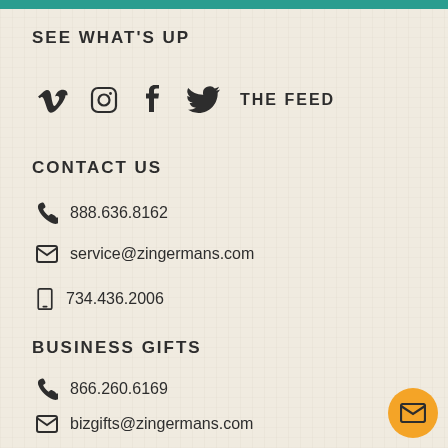SEE WHAT'S UP
[Figure (infographic): Social media icons: Vimeo, Instagram, Facebook, Twitter, followed by text THE FEED]
CONTACT US
888.636.8162
service@zingermans.com
734.436.2006
BUSINESS GIFTS
866.260.6169
bizgifts@zingermans.com
Learn more